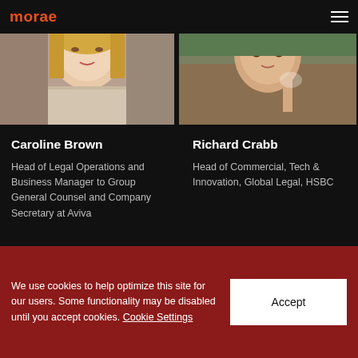morae
[Figure (photo): Portrait photo of Caroline Brown, a blonde woman]
[Figure (photo): Portrait photo of Richard Crabb, a man holding a glass, wearing a brown sweater]
Caroline Brown
Head of Legal Operations and Business Manager to Group General Counsel and Company Secretary at Aviva
Richard Crabb
Head of Commercial, Tech & Innovation, Global Legal, HSBC
[Figure (photo): Partial portrait photo of a man with grey hair]
[Figure (photo): Partial portrait photo of a person with dark hair]
We use cookies to help optimize this site for our users. Some functionality may be disabled until you accept cookies. Cookie Settings